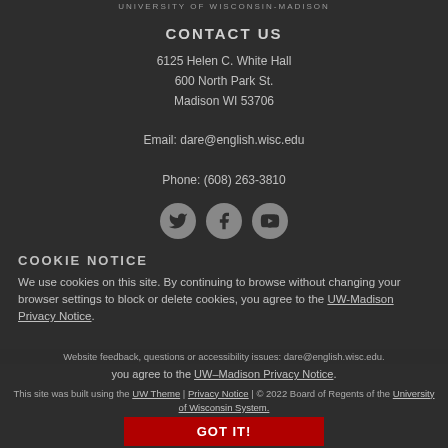UNIVERSITY OF WISCONSIN-MADISON
CONTACT US
6125 Helen C. White Hall
600 North Park St.
Madison WI 53706

Email: dare@english.wisc.edu

Phone: (608) 263-3810
[Figure (illustration): Three social media icons in grey circles: Twitter bird, Facebook f, YouTube play button]
COOKIE NOTICE
We use cookies on this site. By continuing to browse without changing your browser settings to block or delete cookies, you agree to the UW-Madison Privacy Notice.
Website feedback, questions or accessibility issues: dare@english.wisc.edu.
This site was built using the UW Theme | Privacy Notice | © 2022 Board of Regents of the University of Wisconsin System.
GOT IT!